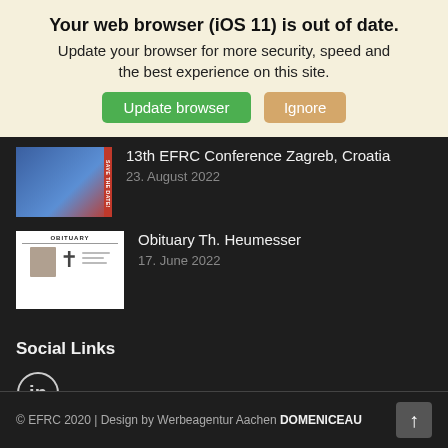Your web browser (iOS 11) is out of date.
Update your browser for more security, speed and the best experience on this site.
Update browser | Ignore
13th EFRC Conference Zagreb, Croatia
23. August 2022
Obituary Th. Heumesser
17. June 2022
Social Links
[Figure (logo): LinkedIn circular logo icon]
© EFRC 2020 | Design by Werbeagentur Aachen DOMENICEAU